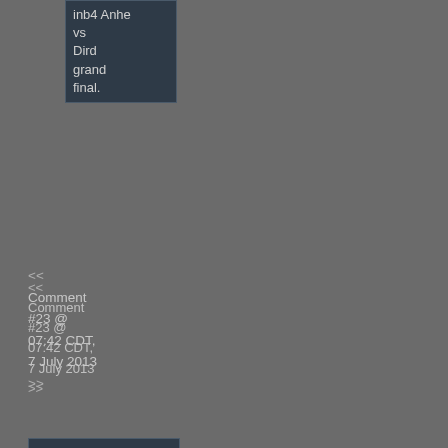inb4 Anhe vs Dird grand final.
<< Comment #23 @ 07:42 CDT, 7 July 2013 >>
(Link, Reply) By huler kellsellsen